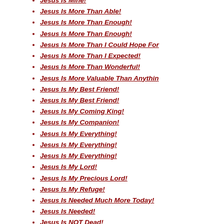Jesus Is Mine!
Jesus Is More Than Able!
Jesus Is More Than Enough!
Jesus Is More Than Enough!
Jesus Is More Than I Could Hope For
Jesus Is More Than I Expected!
Jesus Is More Than Wonderful!
Jesus Is More Valuable Than Anythin
Jesus Is My Best Friend!
Jesus Is My Best Friend!
Jesus Is My Coming King!
Jesus Is My Companion!
Jesus Is My Everything!
Jesus Is My Everything!
Jesus Is My Everything!
Jesus Is My Lord!
Jesus Is My Precious Lord!
Jesus Is My Refuge!
Jesus Is Needed Much More Today!
Jesus Is Needed!
Jesus Is NOT Dead!
Jesus Is Our Answer!
Jesus Is Our Atonement For Sin!
Jesus Is Our Best Friend!
Jesus Is Our Best Friend!
Jesus Is Our Faithful Friend!
Jesus Is Our Future!
Jesus Is Our Future!
Jesus Is Our Only Hope In These Evi
Jesus Is Our Only Hope!